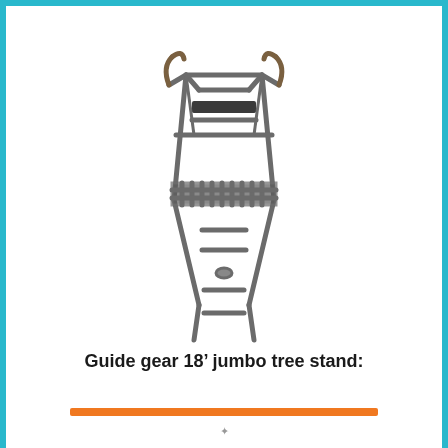[Figure (photo): A Guide Gear 18-foot jumbo ladder tree stand shown in full, featuring a two-person seat at the top with camouflage armrests, a mesh platform, and a ladder with multiple rungs, all in dark grey steel construction.]
Guide gear 18’ jumbo tree stand: